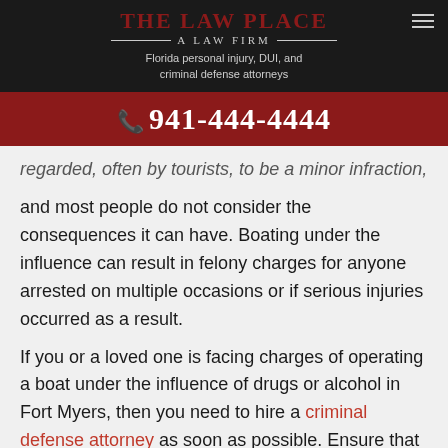[Figure (logo): The Law Place - A Law Firm logo with tagline: Florida personal injury, DUI, and criminal defense attorneys]
941-444-4444
regarded, often by tourists, to be a minor infraction, and most people do not consider the consequences it can have. Boating under the influence can result in felony charges for anyone arrested on multiple occasions or if serious injuries occurred as a result.

If you or a loved one is facing charges of operating a boat under the influence of drugs or alcohol in Fort Myers, then you need to hire a criminal defense attorney as soon as possible. Ensure that you seek